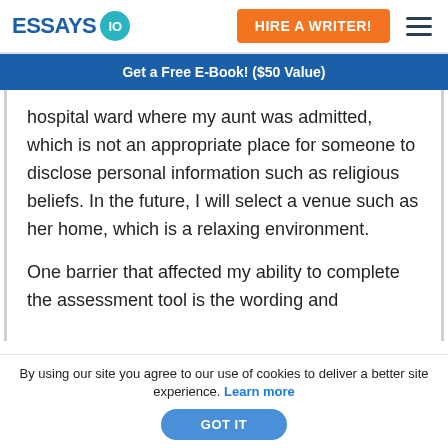ESSAYS IO | HIRE A WRITER!
Get a Free E-Book! ($50 Value)
hospital ward where my aunt was admitted, which is not an appropriate place for someone to disclose personal information such as religious beliefs. In the future, I will select a venue such as her home, which is a relaxing environment.
One barrier that affected my ability to complete the assessment tool is the wording and
By using our site you agree to our use of cookies to deliver a better site experience. Learn more GOT IT